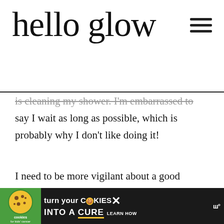hello glow
is cleaning my shower. I'm embarrassed to say I wait as long as possible, which is probably why I don't like doing it!
I need to be more vigilant about a good weekly cleaning. One reason I detest the chore is because we have really, really hard water and it can be very hard to scrub off all the soap scum and hard-water buildup.
[Figure (other): Cookies for Kids' Cancer advertisement banner: 'turn your COOKIES into a CURE LEARN HOW']